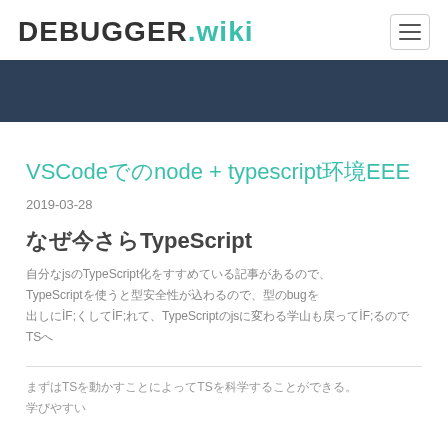DEBUGGER.wiki
[Figure (other): Dark navy blue banner/band]
VSCodeでのnode + typescript環境構築
2019-03-28
なぜ今さらTypeScript
自分なjsのTypeScript化をすすめている記事があるので、TypeScriptを使うと型安全性が辺わるので、型のbugを出しにくくしてくれて、TypeScriptのjsに変わる学山も戻ってくるのでTSへ
まずはTSを動かすことによってTSを科学することができる。学びやすい